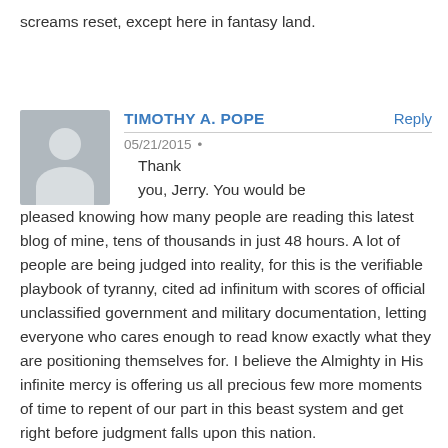screams reset, except here in fantasy land.
TIMOTHY A. POPE
05/21/2015 •
Thank you, Jerry. You would be pleased knowing how many people are reading this latest blog of mine, tens of thousands in just 48 hours. A lot of people are being judged into reality, for this is the verifiable playbook of tyranny, cited ad infinitum with scores of official unclassified government and military documentation, letting everyone who cares enough to read know exactly what they are positioning themselves for. I believe the Almighty in His infinite mercy is offering us all precious few more moments of time to repent of our part in this beast system and get right before judgment falls upon this nation.